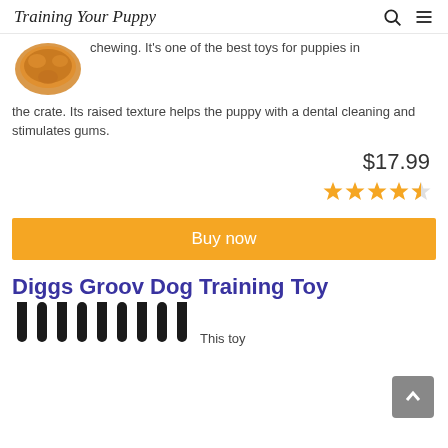Training Your Puppy
chewing. It's one of the best toys for puppies in the crate. Its raised texture helps the puppy with a dental cleaning and stimulates gums.
$17.99
[Figure (other): 4.5 star rating shown in gold stars]
Buy now
Diggs Groov Dog Training Toy
This toy